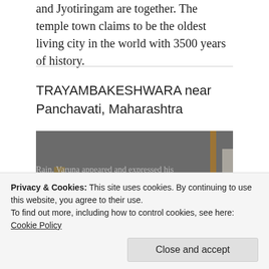and Jyotilingam are together. The temple town claims to be the oldest living city in the world with 3500 years of history.
TRAYAMBAKESHWARA near Panchavati, Maharashtra
[Figure (photo): Photo of a Shiva lingam shrine in a temple, with brass lamp and offerings including flowers.]
Rain. Varuna appeared and expressed his
Privacy & Cookies: This site uses cookies. By continuing to use this website, you agree to their use.
To find out more, including how to control cookies, see here: Cookie Policy